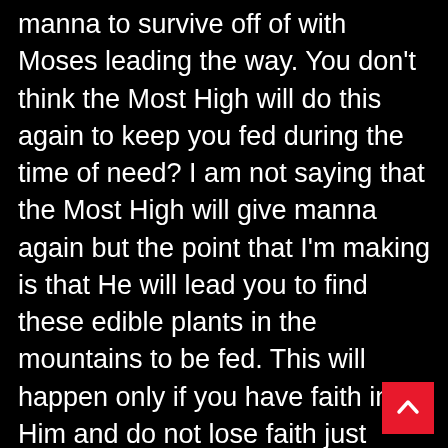manna to survive off of with Moses leading the way. You don't think the Most High will do this again to keep you fed during the time of need? I am not saying that the Most High will give manna again but the point that I'm making is that He will lead you to find these edible plants in the mountains to be fed. This will happen only if you have faith in Him and do not lose faith just because you don't have meat in your hand and you think the world is over; panicking that you will starve to death when you are literally surrounded by food. It is up to us to do our part in preparing and gathering food for the mountains and building and keeping faith. If we are just sitting on junk food and soda pop with no sort of dehydrated food, how can the Most High take us seriously? So just do your part, keep faith and leave it up to Yahweh Elohim and the Heavenly Father will